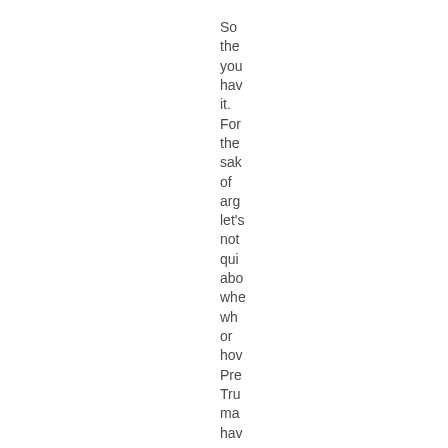So the you hav it. For the sak of arg let's not qui abo whe wh or hov Pre Tru ma hav